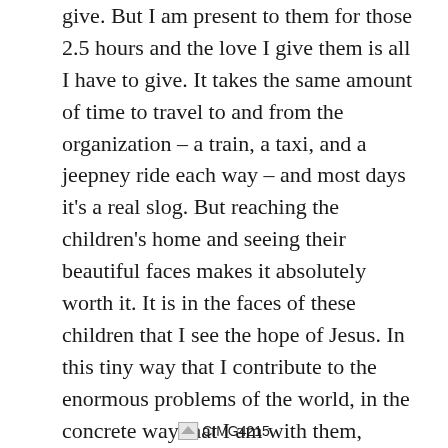give. But I am present to them for those 2.5 hours and the love I give them is all I have to give. It takes the same amount of time to travel to and from the organization – a train, a taxi, and a jeepney ride each way – and most days it's a real slog. But reaching the children's home and seeing their beautiful faces makes it absolutely worth it. It is in the faces of these children that I see the hope of Jesus. In this tiny way that I contribute to the enormous problems of the world, in the concrete way that I am with them, playing with them, and loving them, and in the way that they are loving me too, God is present in the city.
[Figure (photo): Placeholder image thumbnail labeled CIMG4215]